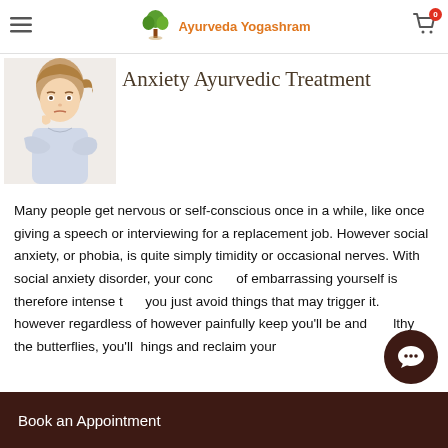Ayurveda Yogashram
[Figure (photo): Woman with anxious expression, sitting with arms crossed, chin resting on hand]
Anxiety Ayurvedic Treatment
Many people get nervous or self-conscious once in a while, like once giving a speech or interviewing for a replacement job. However social anxiety, or phobia, is quite simply timidity or occasional nerves. With social anxiety disorder, your concern of embarrassing yourself is therefore intense that you just avoid things that may trigger it. however regardless of however painfully keep you'll be and healthy the butterflies, you'll things and reclaim your